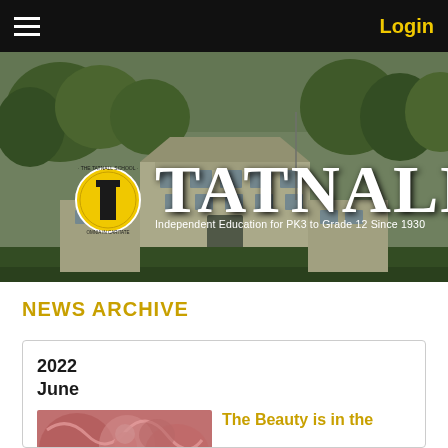Login
[Figure (photo): Tatnall School campus hero image showing school building with green trees and lawn, with Tatnall logo (school seal and large serif text 'TATNALL') overlaid, and tagline 'Independent Education for PK3 to Grade 12 Since 1930']
NEWS ARCHIVE
2022
June
[Figure (photo): Thumbnail image with pinkish-red artistic/decorative design]
The Beauty is in the